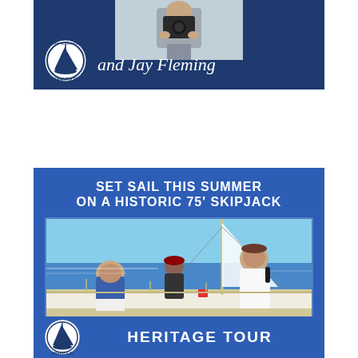[Figure (photo): Top banner card with dark navy background showing a person holding a camera at top, Annapolis Maritime Museum & Park logo at bottom left, and italic text 'and Jay Fleming' in white]
[Figure (photo): Blue promotional card for Heritage Tour showing 'SET SAIL THIS SUMMER ON A HISTORIC 75' SKIPJACK' in bold white uppercase text, a photo of people on a sailboat deck on the water, Annapolis Maritime Museum & Park logo at bottom left, and 'HERITAGE TOUR' in bold white uppercase text at bottom]